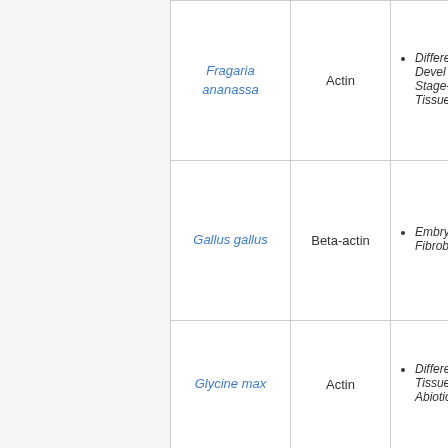| Species | Gene | Details |
| --- | --- | --- |
| Fragaria ananassa | Actin | Different Developmental Stages, Tissues |
| Gallus gallus | Beta-actin | Embryo Fibroblasts |
| Glycine max | Actin | Different Tissues, Abiotic... |